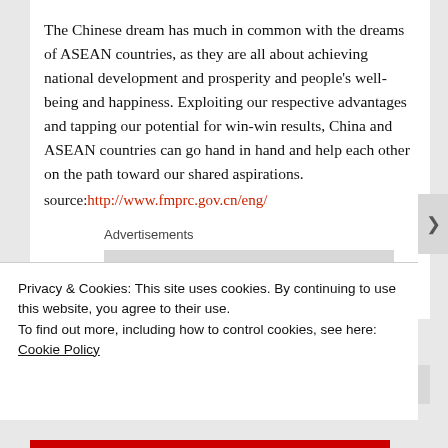The Chinese dream has much in common with the dreams of ASEAN countries, as they are all about achieving national development and prosperity and people's well-being and happiness. Exploiting our respective advantages and tapping our potential for win-win results, China and ASEAN countries can go hand in hand and help each other on the path toward our shared aspirations.
source:http://www.fmprc.gov.cn/eng/
Advertisements
[Figure (logo): P2 logo with monitor icon and bold P2 text]
Privacy & Cookies: This site uses cookies. By continuing to use this website, you agree to their use.
To find out more, including how to control cookies, see here: Cookie Policy
Close and accept